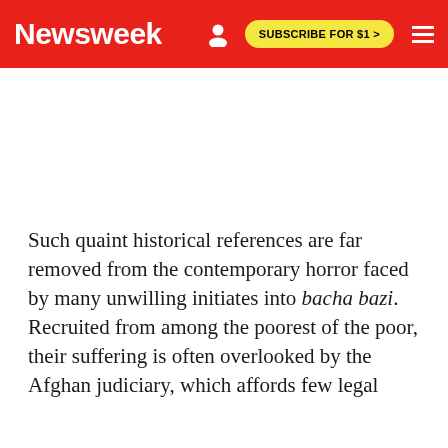Newsweek  SUBSCRIBE FOR $1 >
[Figure (other): Advertisement placeholder white space]
Such quaint historical references are far removed from the contemporary horror faced by many unwilling initiates into bacha bazi. Recruited from among the poorest of the poor, their suffering is often overlooked by the Afghan judiciary, which affords few legal protections to the children. With new adoptions